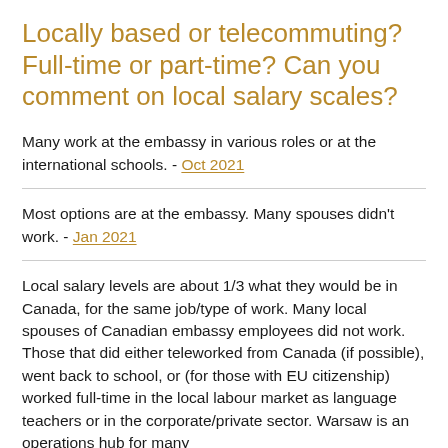Locally based or telecommuting? Full-time or part-time? Can you comment on local salary scales?
Many work at the embassy in various roles or at the international schools. - Oct 2021
Most options are at the embassy. Many spouses didn't work. - Jan 2021
Local salary levels are about 1/3 what they would be in Canada, for the same job/type of work. Many local spouses of Canadian embassy employees did not work. Those that did either teleworked from Canada (if possible), went back to school, or (for those with EU citizenship) worked full-time in the local labour market as language teachers or in the corporate/private sector. Warsaw is an operations hub for many